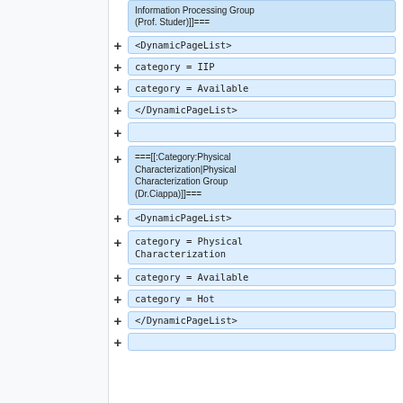===[[:Category:Information Processing Group (Prof. Studer)]]===
<DynamicPageList>
category = IIP
category = Available
</DynamicPageList>
===[[:Category:Physical Characterization|Physical Characterization Group (Dr.Ciappa)]]===
<DynamicPageList>
category = Physical Characterization
category = Available
category = Hot
</DynamicPageList>